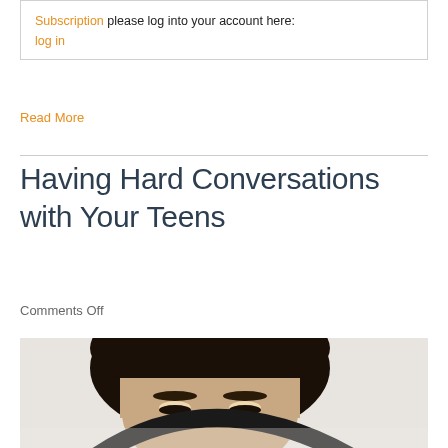Subscription please log into your account here:
log in
Read More
Having Hard Conversations with Your Teens
Comments Off
[Figure (photo): Top portion of a young man's face, looking downward, with a dark circular object (possibly headphones) visible in the lower portion of the image.]